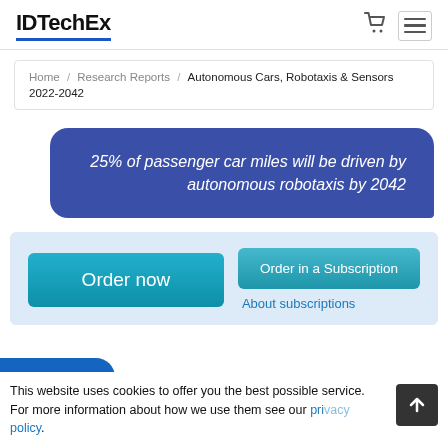IDTechEx
Home / Research Reports / Autonomous Cars, Robotaxis & Sensors 2022-2042
[Figure (infographic): Blue rounded speech bubble containing italic text: 25% of passenger car miles will be driven by autonomous robotaxis by 2042]
Order now | Order in a Subscription | About subscriptions
This website uses cookies to offer you the best possible service. For more information about how we use them see our privacy policy.